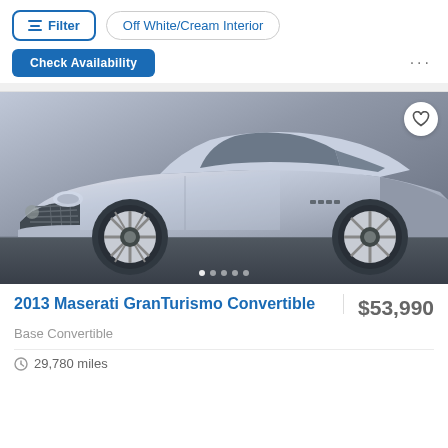Filter
Off White/Cream Interior
Check Availability
[Figure (photo): Silver 2013 Maserati GranTurismo Convertible photographed from front-left angle in a studio/showroom setting]
2013 Maserati GranTurismo Convertible
$53,990
Base Convertible
29,780 miles